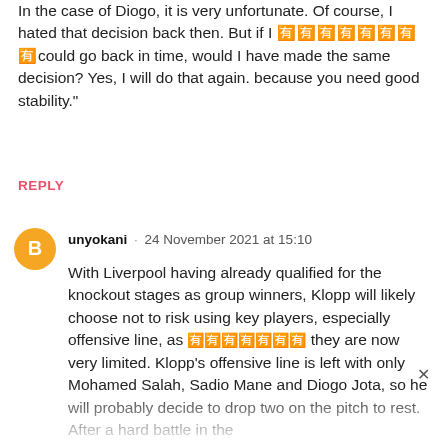In the case of Diogo, it is very unfortunate. Of course, I hated that decision back then. But if I [REDACTED] could go back in time, would I have made the same decision? Yes, I will do that again. because you need good stability."
REPLY
unyokani · 24 November 2021 at 15:10
With Liverpool having already qualified for the knockout stages as group winners, Klopp will likely choose not to risk using key players, especially offensive line, as [REDACTED] they are now very limited. Klopp's offensive line is left with only Mohamed Salah, Sadio Mane and Diogo Jota, so he will probably decide to drop two on the pitch to rest. After a hard battle in the